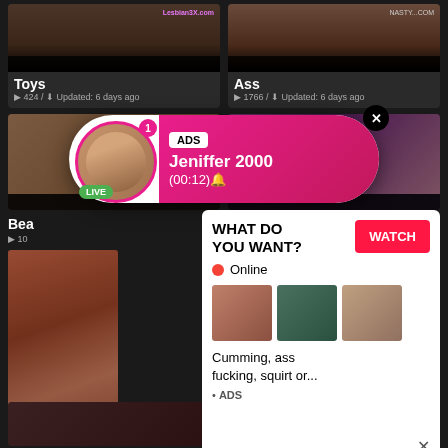[Figure (screenshot): Video thumbnail for Toys category with lesbian3x.com watermark]
Toys
▶ 424 / ⬇ Updated: 6 days ago
[Figure (screenshot): Video thumbnail for Ass category with nasty watermark]
Ass
▶ 1766 / ⬇ Updated: 6 days ago
[Figure (screenshot): Video thumbnail showing blond women]
[Figure (screenshot): Video thumbnail showing toy usage]
[Figure (infographic): Live popup ad: ADS, Jeniffer 2000, (00:12), LIVE badge, close button]
Bea
▶ 10
[Figure (photo): Large explicit photo ad]
[Figure (infographic): Ad popup: WHAT DO YOU WANT? WATCH button, Online status, thumbnail images, Cumming, ass fucking, squirt or... ADS label]